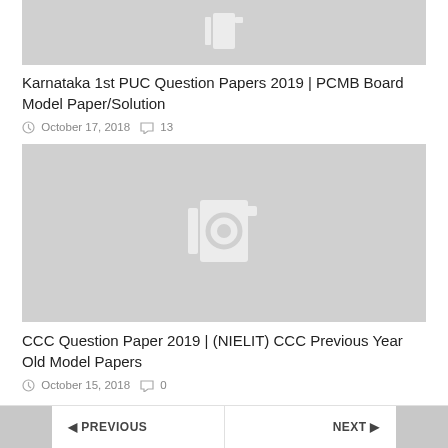[Figure (photo): Placeholder image with camera icon (light gray background) for Karnataka 1st PUC Question Papers post]
Karnataka 1st PUC Question Papers 2019 | PCMB Board Model Paper/Solution
October 17, 2018  13
[Figure (photo): Placeholder image with camera icon (light gray background) for CCC Question Paper post]
CCC Question Paper 2019 | (NIELIT) CCC Previous Year Old Model Papers
October 15, 2018  0
PREVIOUS  NEXT